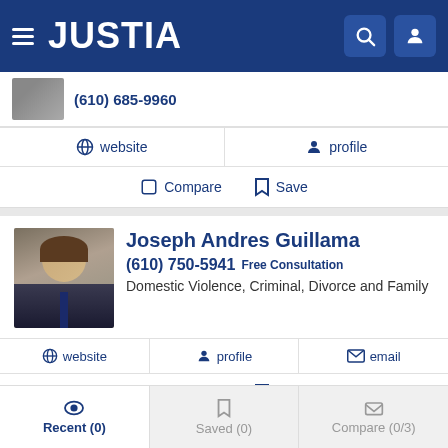JUSTIA
(610) 685-9960
website   profile
Compare   Save
Joseph Andres Guillama
(610) 750-5941 Free Consultation
Domestic Violence, Criminal, Divorce and Family
website   profile   email
Compare   Save
Melaina Hudack
Recent (0)   Saved (0)   Compare (0/3)